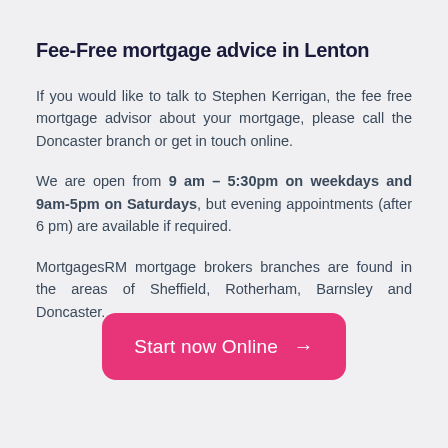Fee-Free mortgage advice in Lenton
If you would like to talk to Stephen Kerrigan, the fee free mortgage advisor about your mortgage, please call the Doncaster branch or get in touch online.
We are open from 9 am – 5:30pm on weekdays and 9am-5pm on Saturdays, but evening appointments (after 6 pm) are available if required.
MortgagesRM mortgage brokers branches are found in the areas of Sheffield, Rotherham, Barnsley and Doncaster.
Start now Online →